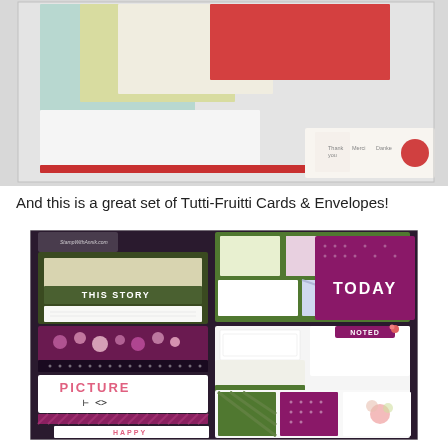[Figure (photo): Photo of colored cardstock sheets and card-making supplies fanned out on a gray background, with small cards showing 'Thank you', 'Merci', 'Danke' text visible at bottom right.]
And this is a great set of Tutti-Fruitti Cards & Envelopes!
[Figure (photo): Photo of Tutti-Fruitti Cards & Envelopes set showing decorative journaling cards and envelopes in purple, green, pink and white colors, with text labels like 'THIS STORY', 'TODAY', 'PICTURE', 'NOTED', 'HAPPY' visible on various cards arranged in a fan/stack display.]